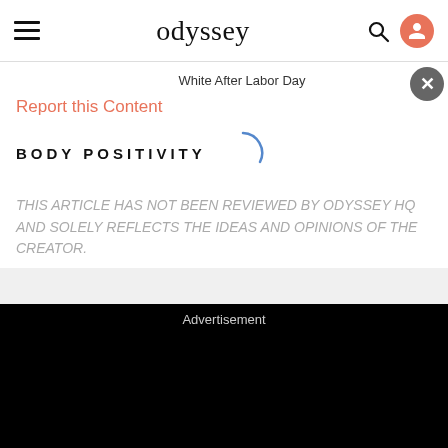odyssey
White After Labor Day
Report this Content
BODY POSITIVITY
THIS ARTICLE HAS NOT BEEN REVIEWED BY ODYSSEY HQ AND SOLELY REFLECTS THE IDEAS AND OPINIONS OF THE CREATOR.
Advertisement